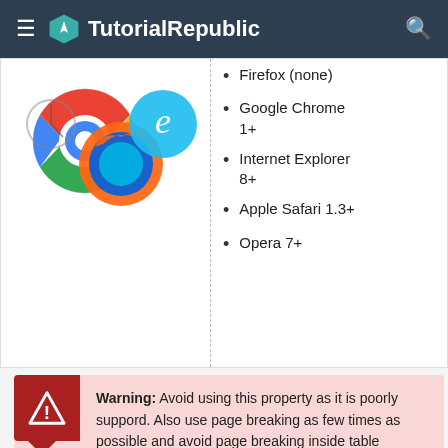TutorialRepublic
[Figure (illustration): Browser logos: Chrome, Firefox, Safari, Internet Explorer]
Firefox (none)
Google Chrome 1+
Internet Explorer 8+
Apple Safari 1.3+
Opera 7+
Warning: Avoid using this property as it is poorly suppord. Also use page breaking as few times as possible and avoid page breaking inside table elements, floating elements, and block elements with borders.